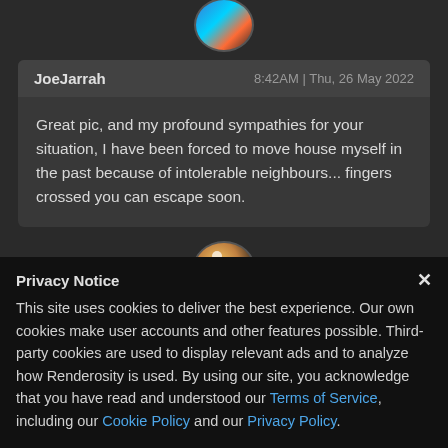[Figure (photo): Circular avatar image at the top with blue and orange colors]
JoeJarrah	8:42AM | Thu, 26 May 2022
Great pic, and my profound sympathies for your situation, I have been forced to move house myself in the past because of intolerable neighbours... fingers crossed you can escape soon.
[Figure (photo): Circular avatar image showing a face with warm brown tones and a light reflection]
Privacy Notice
This site uses cookies to deliver the best experience. Our own cookies make user accounts and other features possible. Third-party cookies are used to display relevant ads and to analyze how Renderosity is used. By using our site, you acknowledge that you have read and understood our Terms of Service, including our Cookie Policy and our Privacy Policy.